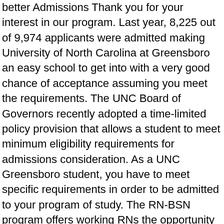better Admissions Thank you for your interest in our program. Last year, 8,225 out of 9,974 applicants were admitted making University of North Carolina at Greensboro an easy school to get into with a very good chance of acceptance assuming you meet the requirements. The UNC Board of Governors recently adopted a time-limited policy provision that allows a student to meet minimum eligibility requirements for admissions consideration. As a UNC Greensboro student, you have to meet specific requirements in order to be admitted to your program of study. The RN-BSN program offers working RNs the opportunity to earn a BSN in a convenient location through a part-time plan of study. Requirements of Applicant Applicants must hold a masterâŸŸs level degree and have a minimum of 3 years of professional experience in Kinesiology or related fields to be accepted into the program. UNC GreensboroâŸŸs online programs are consistently recognized for affordability and academic excellence. Complete and submit your online application. 2. A bachelorâŸŸs degree from UNC Greensboro is